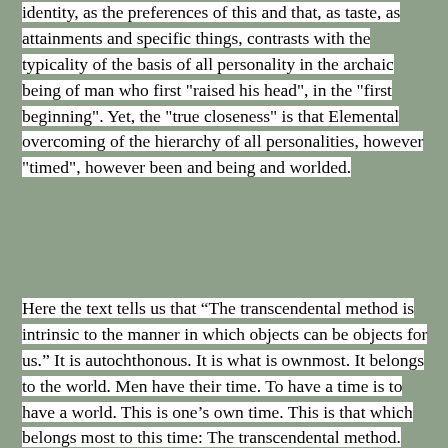identity, as the preferences of this and that, as taste, as attainments and specific things, contrasts with the typicality of the basis of all personality in the archaic being of man who first "raised his head", in the "first beginning". Yet, the "true closeness" is that Elemental overcoming of the hierarchy of all personalities, however "timed", however been and being and worlded.
Here the text tells us that “The transcendental method is intrinsic to the manner in which objects can be objects for us.” It is autochthonous. It is what is ownmost. It belongs to the world. Men have their time. To have a time is to have a world. This is one’s own time. This is that which belongs most to this time: The transcendental method. Yet, who gives any thought to such a method? Certainly scientists are not concerned with it. And no one else either. Yet: “The transcendental method is intrinsic to the manner in which objects can be objects for us.” Distinctly the text says: “for us”. Perhaps the text called Heidegger has simply been